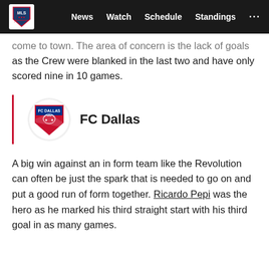MLS | News  Watch  Schedule  Standings  ...
come to town. The area of concern is the lack of goals as the Crew were blanked in the last two and have only scored nine in 10 games.
[Figure (logo): FC Dallas team logo with shield shape and text FC DALLAS]
FC Dallas
A big win against an in form team like the Revolution can often be just the spark that is needed to go on and put a good run of form together. Ricardo Pepi was the hero as he marked his third straight start with his third goal in as many games.